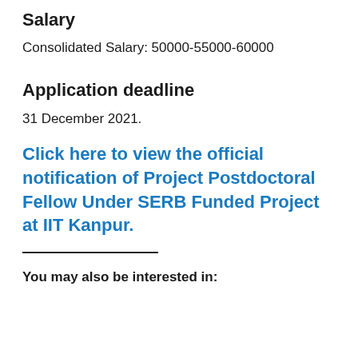Salary
Consolidated Salary: 50000-55000-60000
Application deadline
31 December 2021.
Click here to view the official notification of Project Postdoctoral Fellow Under SERB Funded Project at IIT Kanpur.
You may also be interested in: